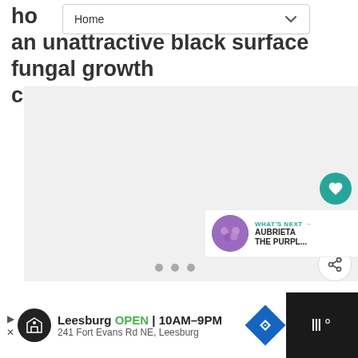ho... to an unattractive black surface fungal growth called sooty mold.
[Figure (screenshot): Navigation bar with 'Home' label and dropdown chevron]
[Figure (photo): Light gray image placeholder area with three gray dots at bottom indicating a carousel, a teal heart/like button, a count of 1, a share button, and a 'What's Next' card showing 'AUBRIETA THE PURPL...' with a purple flower thumbnail]
[Figure (other): Advertisement bar at bottom: Leesburg OPEN 10AM-9PM, 241 Fort Evans Rd NE, Leesburg, with logo and navigation icon, and a dark panel on the right with a temperature/weather app icon]